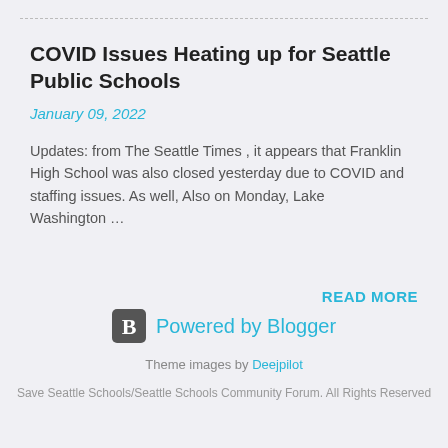COVID Issues Heating up for Seattle Public Schools
January 09, 2022
Updates: from The Seattle Times , it appears that Franklin High School was also closed yesterday due to COVID and staffing issues. As well, Also on Monday, Lake Washington …
READ MORE
Powered by Blogger
Theme images by Deejpilot
Save Seattle Schools/Seattle Schools Community Forum. All Rights Reserved